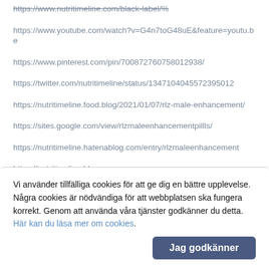https://www.nutritimeline.com/black-label/%
https://www.youtube.com/watch?v=G4n7toG48uE&feature=youtu.be
https://www.pinterest.com/pin/700872760758012938/
https://twitter.com/nutritimeline/status/1347104045572395012
https://nutritimeline.food.blog/2021/01/07/rlz-male-enhancement/
https://sites.google.com/view/rlzmaleenhancementpillls/
https://nutritimeline.hatenablog.com/entry/rlzmaleenhancement
https://nutritimeline.bl
Vi använder tillfälliga cookies för att ge dig en bättre upplevelse. Några cookies är nödvändiga för att webbplatsen ska fungera korrekt. Genom att använda våra tjänster godkänner du detta. Här kan du läsa mer om cookies.
Jag godkänner